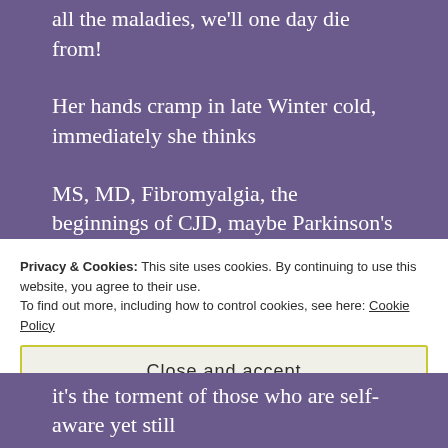all the maladies, we'll one day die from!
Her hands cramp in late Winter cold, immediately she thinks
MS, MD, Fibromyalgia, the beginnings of CJD, maybe Parkinson's
isn't that a tremor? Or just too much coffee?
Her jittering nerves remind her, we are unable to compute
Privacy & Cookies: This site uses cookies. By continuing to use this website, you agree to their use. To find out more, including how to control cookies, see here: Cookie Policy
Close and accept
it's the torment of those who are self-aware yet still